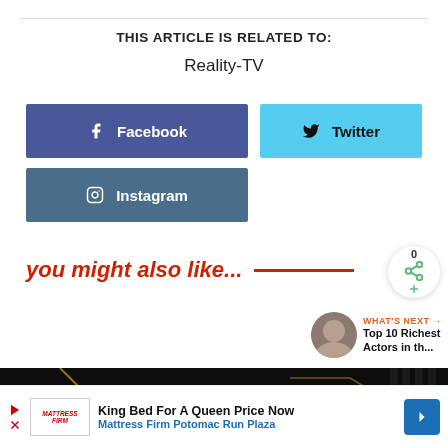THIS ARTICLE IS RELATED TO:
Reality-TV
[Figure (other): Facebook social share button (blue/indigo background, white f icon)]
[Figure (other): Twitter social share button (cyan background, bird icon)]
[Figure (other): Instagram social share button (blue-gray background, camera icon)]
you might also like...
[Figure (other): Share icon button with count 0]
[Figure (other): WHAT'S NEXT arrow label with avatar and text: Top 10 Richest Actors in th...]
[Figure (photo): Dark background decorative image with golden geometric heart pattern]
King Bed For A Queen Price Now
Mattress Firm Potomac Run Plaza